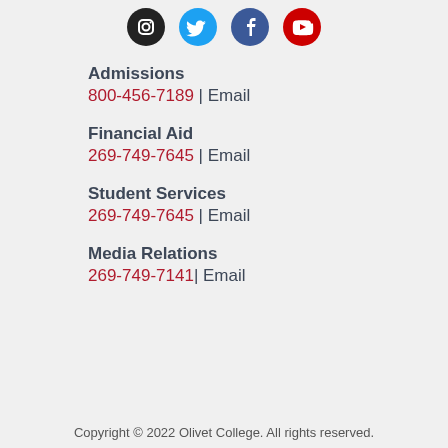[Figure (other): Four social media icons (Instagram black, Twitter blue, Facebook dark blue, YouTube red) in circular buttons]
Admissions
800-456-7189 | Email
Financial Aid
269-749-7645 | Email
Student Services
269-749-7645 | Email
Media Relations
269-749-7141 | Email
Copyright © 2022 Olivet College. All rights reserved.